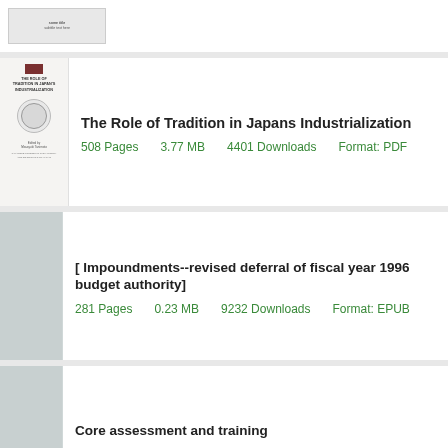[Figure (other): Partial book thumbnail stub at top]
The Role of Tradition in Japans Industrialization
508 Pages   3.77 MB   4401 Downloads   Format: PDF
[ Impoundments--revised deferral of fiscal year 1996 budget authority]
281 Pages   0.23 MB   9232 Downloads   Format: EPUB
Core assessment and training
604 Pages   4.72 MB   7963 Downloads   Format: EPUB
Green